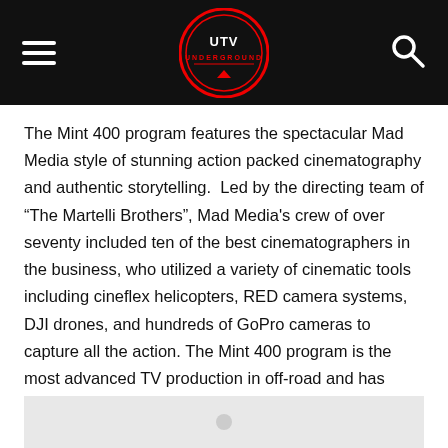UTV Underground logo header with hamburger menu and search icon
The Mint 400 program features the spectacular Mad Media style of stunning action packed cinematography and authentic storytelling.  Led by the directing team of “The Martelli Brothers”, Mad Media's crew of over seventy included ten of the best cinematographers in the business, who utilized a variety of cinematic tools including cineflex helicopters, RED camera systems, DJI drones, and hundreds of GoPro cameras to capture all the action. The Mint 400 program is the most advanced TV production in off-road and has enjoyed uninterrupted broadcast since 2010, reaching hundreds of millions of people in the United States, as well as a massive global online impact.
[Figure (photo): Partially visible image placeholder at the bottom of the page, light gray background]